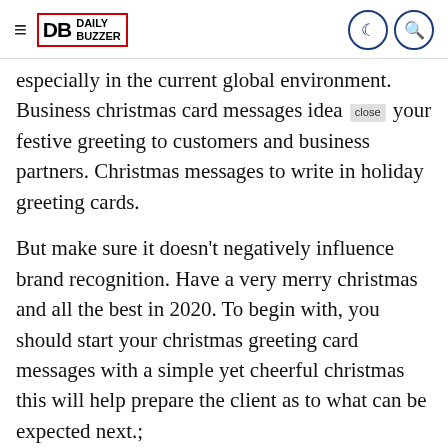≡ DB DAILY BUZZER [moon icon] [search icon]
especially in the current global environment. Business christmas card messages idea close your festive greeting to customers and business partners. Christmas messages to write in holiday greeting cards.
But make sure it doesn't negatively influence brand recognition. Have a very merry christmas and all the best in 2020. To begin with, you should start your christmas greeting card messages with a simple yet cheerful christmas this will help prepare the client as to what can be expected next.;
To show your appreciation for your loyal employees, the following list of business christmas card messages are included below to encourage the creation of your own